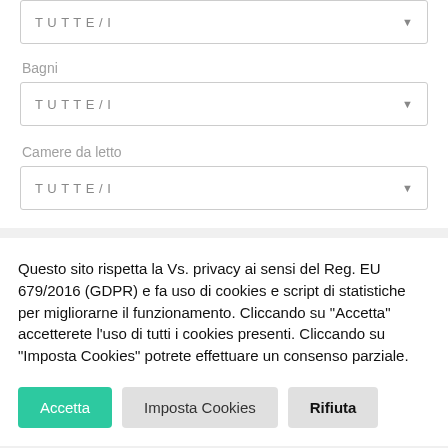TUTTE/I (dropdown, clipped at top)
Bagni
TUTTE/I
Camere da letto
TUTTE/I
Questo sito rispetta la Vs. privacy ai sensi del Reg. EU 679/2016 (GDPR) e fa uso di cookies e script di statistiche per migliorarne il funzionamento. Cliccando su "Accetta" accetterete l'uso di tutti i cookies presenti. Cliccando su "Imposta Cookies" potrete effettuare un consenso parziale.
Accetta
Imposta Cookies
Rifiuta